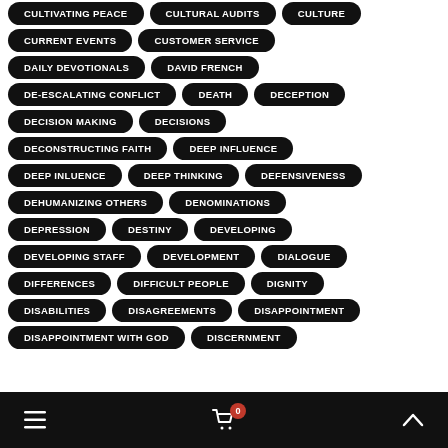CULTIVATING PEACE
CULTURAL AUDITS
CULTURE
CURRENT EVENTS
CUSTOMER SERVICE
DAILY DEVOTIONALS
DAVID FRENCH
DE-ESCALATING CONFLICT
DEATH
DECEPTION
DECISION MAKING
DECISIONS
DECONSTRUCTING FAITH
DEEP INFLUENCE
DEEP INLUENCE
DEEP THINKING
DEFENSIVENESS
DEHUMANIZING OTHERS
DENOMINATIONS
DEPRESSION
DESTINY
DEVELOPING
DEVELOPING STAFF
DEVELOPMENT
DIALOGUE
DIFFERENCES
DIFFICULT PEOPLE
DIGNITY
DISABILITIES
DISAGREEMENTS
DISAPPOINTMENT
DISAPPOINTMENT WITH GOD
DISCERNMENT
≡  [cart] 0  ∧